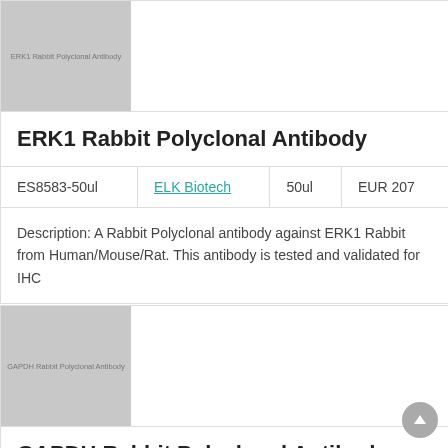[Figure (photo): Gray placeholder image with label 'ERK1 Rabbit Polyclonal Antibody']
ERK1 Rabbit Polyclonal Antibody
| ES8583-50ul | ELK Biotech | 50ul | EUR 207 |
| --- | --- | --- | --- |
Description: A Rabbit Polyclonal antibody against ERK1 Rabbit from Human/Mouse/Rat. This antibody is tested and validated for IHC
[Figure (photo): Gray placeholder image with label 'GAPDH Rabbit Polyclonal Antibody']
GAPDH Rabbit Polyclonal Antibody